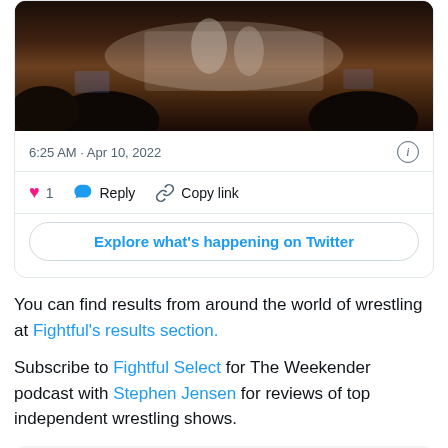[Figure (screenshot): Twitter/X embedded tweet card showing a dark wrestling event photo (aerial view of ring/stage with crowd), timestamp 6:25 AM · Apr 10, 2022, with like (1), Reply, Copy link actions, and an 'Explore what's happening on Twitter' button]
You can find results from around the world of wrestling at Fightful's results section.
Subscribe to Fightful Select for The Weekender podcast with Stephen Jensen for reviews of top independent wrestling shows.
Get exclusive pro wrestling content on Fightful Select, our premium news service! Click here to learn more